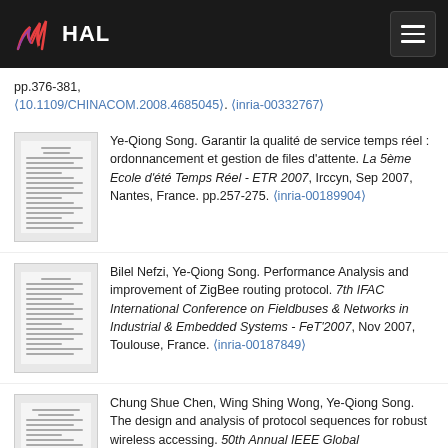HAL
pp.376-381, ⟨10.1109/CHINACOM.2008.4685045⟩. ⟨inria-00332767⟩
Ye-Qiong Song. Garantir la qualité de service temps réel : ordonnancement et gestion de files d’attente. La 5ème Ecole d'été Temps Réel - ETR 2007, Irccyn, Sep 2007, Nantes, France. pp.257-275. ⟨inria-00189904⟩
Bilel Nefzi, Ye-Qiong Song. Performance Analysis and improvement of ZigBee routing protocol. 7th IFAC International Conference on Fieldbuses & Networks in Industrial & Embedded Systems - FeT’2007, Nov 2007, Toulouse, France. ⟨inria-00187849⟩
Chung Shue Chen, Wing Shing Wong, Ye-Qiong Song. The design and analysis of protocol sequences for robust wireless accessing. 50th Annual IEEE Global Telecommunications...